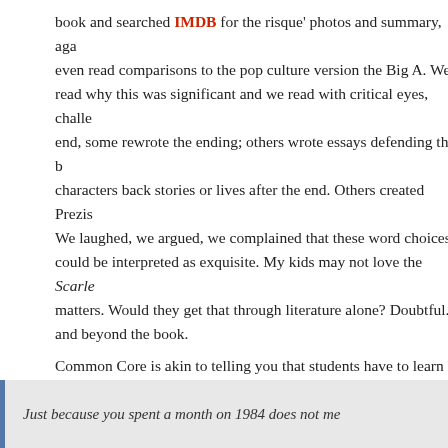book and searched IMDB for the risque' photos and summary, aga even read comparisons to the pop culture version the Big A. We k read why this was significant and we read with critical eyes, challe end, some rewrote the ending; others wrote essays defending the b characters back stories or lives after the end. Others created Prezis We laughed, we argued, we complained that these word choices 's could be interpreted as exquisite. My kids may not love the Scarle matters. Would they get that through literature alone? Doubtful. C and beyond the book. Common Core is akin to telling you that students have to learn ho game. The game? Deconstructing text. Because in the real world y interpret text. The Common Core does NOT state that you cannot say is that you must teach ANALYSIS. Kids need to know how to across the nation that they cannot teach their poetry unit as is. And content. We teach skills so that kids can tackle any content. If you curriculum, shame on you.
Just because you spent a month on 1984 does not me